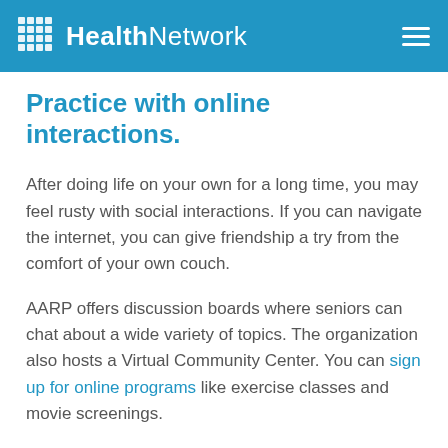HealthNetwork
Practice with online interactions.
After doing life on your own for a long time, you may feel rusty with social interactions. If you can navigate the internet, you can give friendship a try from the comfort of your own couch.
AARP offers discussion boards where seniors can chat about a wide variety of topics. The organization also hosts a Virtual Community Center. You can sign up for online programs like exercise classes and movie screenings.
Participating in these kinds of online